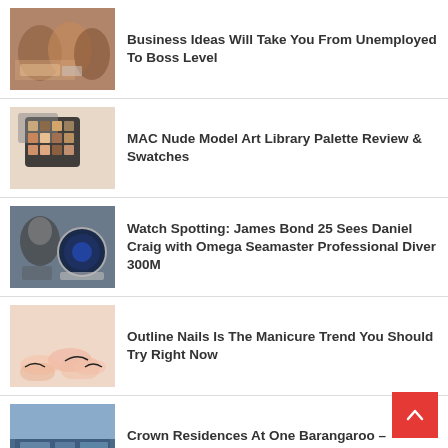Business Ideas Will Take You From Unemployed To Boss Level
MAC Nude Model Art Library Palette Review & Swatches
Watch Spotting: James Bond 25 Sees Daniel Craig with Omega Seamaster Professional Diver 300M
Outline Nails Is The Manicure Trend You Should Try Right Now
Crown Residences At One Barangaroo – Sydney's luxury property gem